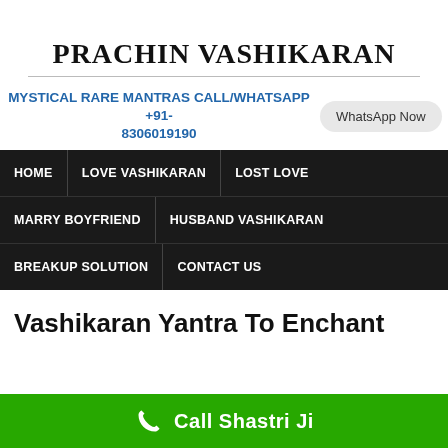PRACHIN VASHIKARAN
MYSTICAL RARE MANTRAS CALL/WHATSAPP +91-8306019190
WhatsApp Now
HOME
LOVE VASHIKARAN
LOST LOVE
MARRY BOYFRIEND
HUSBAND VASHIKARAN
BREAKUP SOLUTION
CONTACT US
Vashikaran Yantra To Enchant
Call Shastri Ji